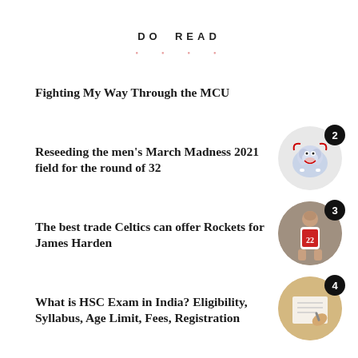DO READ
Fighting My Way Through the MCU
Reseeding the men's March Madness 2021 field for the round of 32
The best trade Celtics can offer Rockets for James Harden
What is HSC Exam in India? Eligibility, Syllabus, Age Limit, Fees, Registration